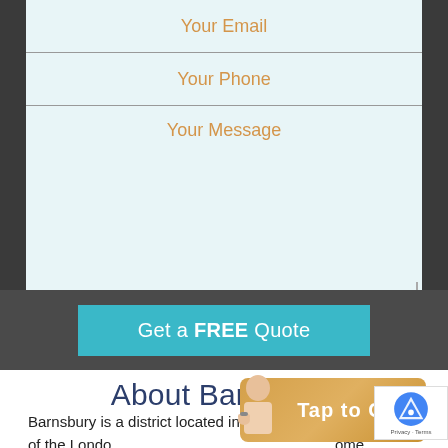Your Email
Your Phone
Your Message
Get a FREE Quote
About Barnsbury
Barnsbury is a district located in north London and is part of the London Borough of Islington. Its name comes from the villa de Islington of Barnsbury, located near the City, and had the reputation of an area with strong local